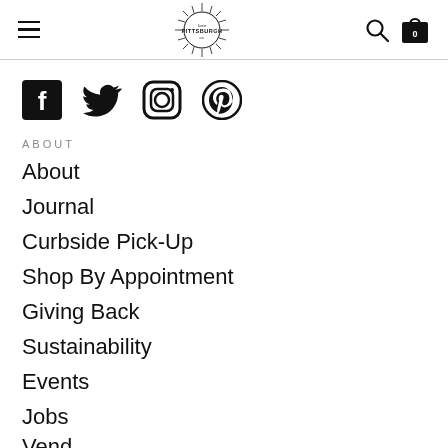Navigation header with hamburger menu, Love Pittsburgh logo, search icon, and cart icon showing 0
[Figure (illustration): Social media icons: Facebook, Twitter, Instagram, Pinterest]
ABOUT
About
Journal
Curbside Pick-Up
Shop By Appointment
Giving Back
Sustainability
Events
Jobs
Vendor